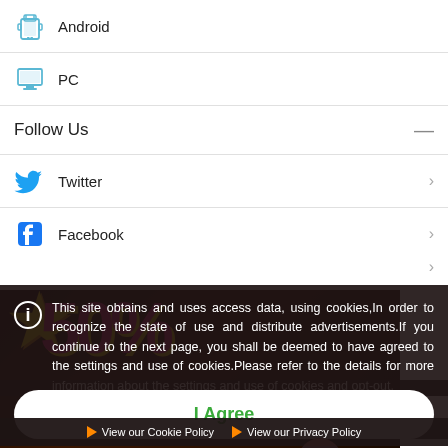Android
PC
Follow Us
Twitter
Facebook
[Figure (screenshot): Advertisement banner showing 50% off coupon promotion with yellow and pink text on dark background]
This site obtains and uses access data, using cookies,In order to recognize the state of use and distribute advertisements.If you continue to the next page, you shall be deemed to have agreed to the settings and use of cookies.Please refer to the details for more information about the settings and use of cookies and opt-out.
I Agree
View our Cookie Policy   View our Privacy Policy